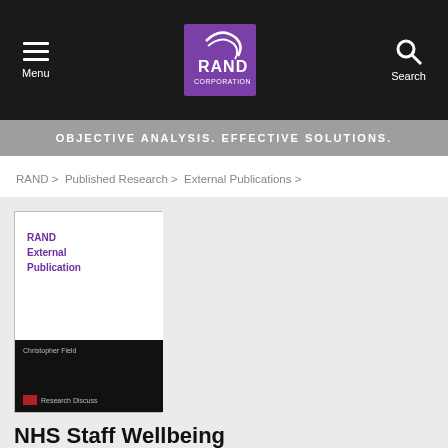Menu | RAND Corporation | Search
OBJECTIVE ANALYSIS. EFFECTIVE SOLUTIONS.
RAND > Published Research > External Publications >
[Figure (illustration): RAND External Publication book cover, top portion white with purple RAND External Publication text, bottom portion black with author Christopher Field and Research Discuss publisher logo]
NHS Staff Wellbeing
Why Investing in Organisational and